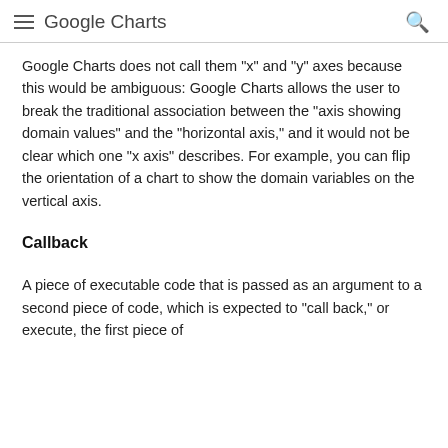Google Charts
Google Charts does not call them "x" and "y" axes because this would be ambiguous: Google Charts allows the user to break the traditional association between the "axis showing domain values" and the "horizontal axis," and it would not be clear which one "x axis" describes. For example, you can flip the orientation of a chart to show the domain variables on the vertical axis.
Callback
A piece of executable code that is passed as an argument to a second piece of code, which is expected to "call back," or execute, the first piece of